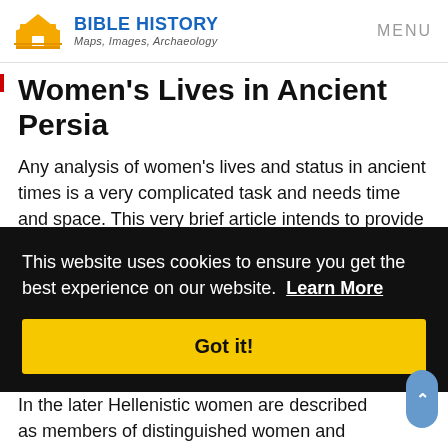BIBLE HISTORY Maps, Images, Archaeology | MENU
Women's Lives in Ancient Persia
Any analysis of women's lives and status in ancient times is a very complicated task and needs time and space. This very brief article intends to provide much needed basic information based on archaeological evidence and will primarily deal with women in Achaemenid ...d ...438 ...nia
This website uses cookies to ensure you get the best experience on our website. Learn More
Got it!
...of ...me.
In the later Hellenistic women are described as members of distinguished women and...